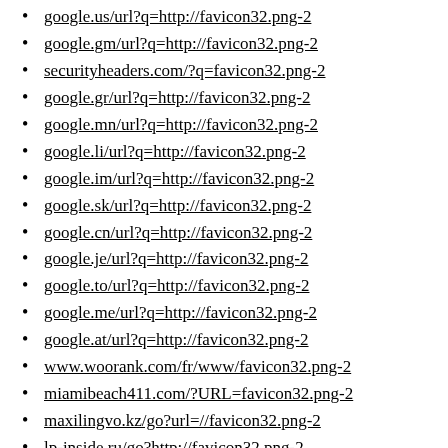google.us/url?q=http://favicon32.png-2
google.gm/url?q=http://favicon32.png-2
securityheaders.com/?q=favicon32.png-2
google.gr/url?q=http://favicon32.png-2
google.mn/url?q=http://favicon32.png-2
google.li/url?q=http://favicon32.png-2
google.im/url?q=http://favicon32.png-2
google.sk/url?q=http://favicon32.png-2
google.cn/url?q=http://favicon32.png-2
google.je/url?q=http://favicon32.png-2
google.to/url?q=http://favicon32.png-2
google.me/url?q=http://favicon32.png-2
google.at/url?q=http://favicon32.png-2
www.woorank.com/fr/www/favicon32.png-2
miamibeach411.com/?URL=favicon32.png-2
maxilingvo.kz/go?url=//favicon32.png-2
lp-inside.ru/go?http://favicon32.png-2
mblg.tv/jmp?url=http://favicon32.png-2
liki.clan.su/go?http://favicon32.png-2